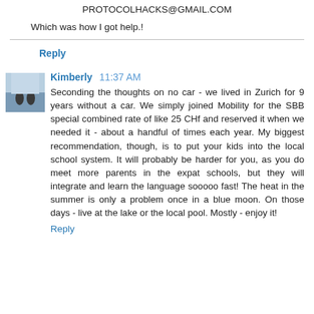PROTOCOLHACKS@GMAIL.COM
Which was how I got help.!
Reply
Kimberly 11:37 AM
Seconding the thoughts on no car - we lived in Zurich for 9 years without a car. We simply joined Mobility for the SBB special combined rate of like 25 CHf and reserved it when we needed it - about a handful of times each year. My biggest recommendation, though, is to put your kids into the local school system. It will probably be harder for you, as you do meet more parents in the expat schools, but they will integrate and learn the language sooooo fast! The heat in the summer is only a problem once in a blue moon. On those days - live at the lake or the local pool. Mostly - enjoy it!
Reply